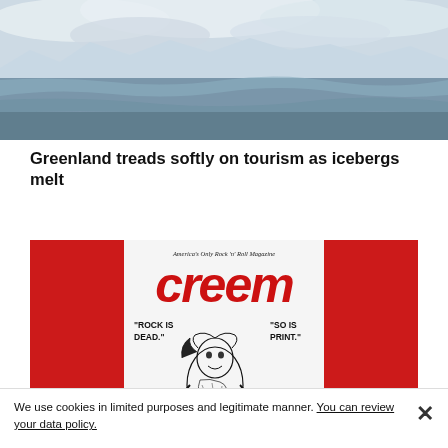[Figure (photo): Aerial or landscape photograph of icebergs and water reflecting cloudy sky, Greenland scenery]
Greenland treads softly on tourism as icebergs melt
[Figure (photo): Photo of Creem magazine cover with red background. Cover reads 'America's Only Rock 'n' Roll Magazine' at top, 'creem' in large red letters, and quotes 'ROCK IS DEAD.' and 'SO IS PRINT.' with a black and white illustration of a rock musician]
We use cookies in limited purposes and legitimate manner. You can review your data policy.